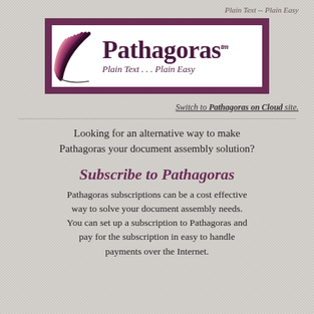Plain Text -- Plain Easy
[Figure (logo): Pathagoras logo with stylized book pages graphic, company name 'Pathagoras TM' and tagline 'Plain Text ... Plain Easy' on white background inside a purple/maroon border]
Switch to Pathagoras on Cloud site.
Looking for an alternative way to make Pathagoras your document assembly solution?
Subscribe to Pathagoras
Pathagoras subscriptions can be a cost effective way to solve your document assembly needs. You can set up a subscription to Pathagoras and pay for the subscription in easy to handle payments over the Internet.